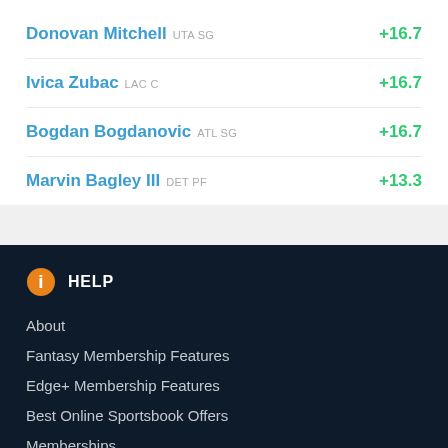Donovan Mitchell UTA SG +16.7
Ivica Zubac LAC C +16.7
Bogdan Bogdanovic ATL SG +16.7
Marvin Bagley III DET PF +13.3
HELP
About
Fantasy Membership Features
Edge+ Membership Features
Best Online Sportsbook Offers
Memberships
Blog
Contact
FAQ